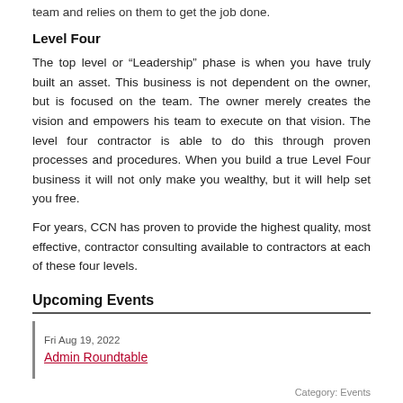team and relies on them to get the job done.
Level Four
The top level or “Leadership” phase is when you have truly built an asset. This business is not dependent on the owner, but is focused on the team. The owner merely creates the vision and empowers his team to execute on that vision. The level four contractor is able to do this through proven processes and procedures. When you build a true Level Four business it will not only make you wealthy, but it will help set you free.
For years, CCN has proven to provide the highest quality, most effective, contractor consulting available to contractors at each of these four levels.
Upcoming Events
Fri Aug 19, 2022
Admin Roundtable
Category: Events